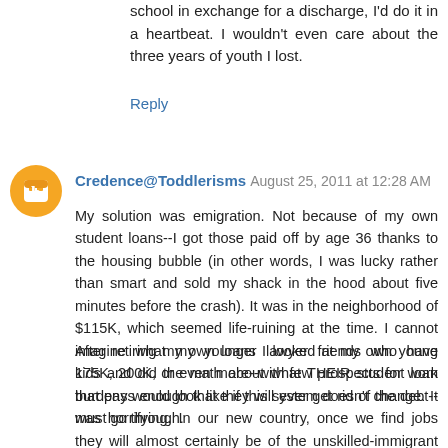school in exchange for a discharge, I'd do it in a heartbeat. I wouldn't even care about the three years of youth I lost.
Reply
Credence@Toddlerisms August 25, 2011 at 12:28 AM
My solution was emigration. Not because of my own student loans--I got those paid off by age 36 thanks to the housing bubble (in other words, I was lucky rather than smart and sold my shack in the hood about five minutes before the crash). It was in the neighborhood of $115K, which seemed life-ruining at the time. I cannot imagine what my younger lawyer friends who have 175K, 200K, or even more--with few prospects for work that pays enough that they will ever get rid of the debt--must go through.
After retiring my own loans I looked at my own young kids and did the math about what THEIR student loan burdens would look like if this system doesn't change. It was horrifying. In our new country, once we find jobs they will almost certainly be of the unskilled-immigrant variety (because our JD is not recognized here, although it still